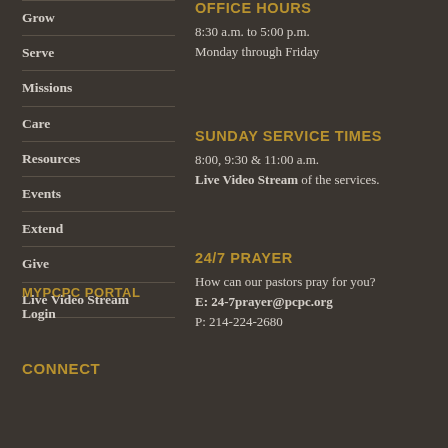Grow
Serve
Missions
Care
Resources
Events
Extend
Give
Live Video Stream
OFFICE HOURS
8:30 a.m. to 5:00 p.m.
Monday through Friday
SUNDAY SERVICE TIMES
8:00, 9:30 & 11:00 a.m.
Live Video Stream of the services.
24/7 PRAYER
How can our pastors pray for you?
E: 24-7prayer@pcpc.org
P: 214-224-2680
MYPCPC PORTAL
Login
CONNECT